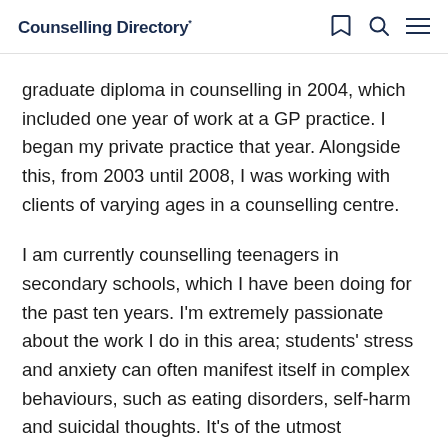Counselling Directory*
graduate diploma in counselling in 2004, which included one year of work at a GP practice. I began my private practice that year. Alongside this, from 2003 until 2008, I was working with clients of varying ages in a counselling centre.
I am currently counselling teenagers in secondary schools, which I have been doing for the past ten years. I'm extremely passionate about the work I do in this area; students' stress and anxiety can often manifest itself in complex behaviours, such as eating disorders, self-harm and suicidal thoughts. It's of the utmost importance that at these critical times I can